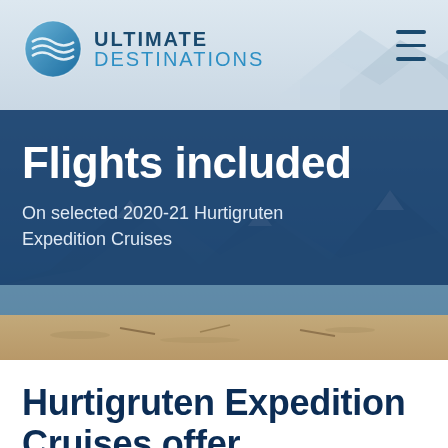[Figure (logo): Ultimate Destinations logo with globe/waves icon and text ULTIMATE DESTINATIONS]
[Figure (photo): Hero banner with snowy mountain background and sandy beach in foreground, overlaid with dark blue semi-transparent band]
Flights included
On selected 2020-21 Hurtigruten Expedition Cruises
Hurtigruten Expedition Cruises offer